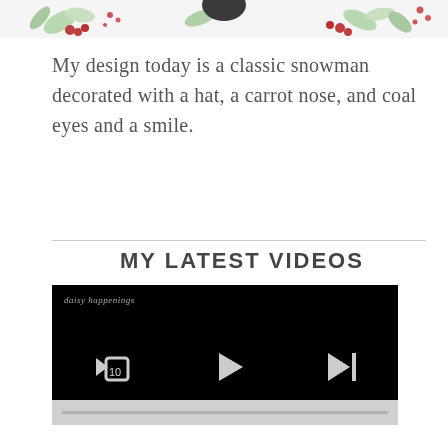[Figure (illustration): Partial view of a floral/holiday illustration with leaves, berries and a snowman at the top of the page]
My design today is a classic snowman decorated with a hat, a carrot nose, and coal eyes and a smile.
MY LATEST VIDEOS
[Figure (screenshot): Video player showing a black screen with playback controls: rewind 10s, play button, and skip-to-next button. Below is a grey progress/control bar.]